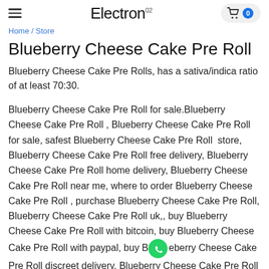Electron
Blueberry Cheese Cake Pre Roll
Blueberry Cheese Cake Pre Roll
Blueberry Cheese Cake Pre Rolls, has a sativa/indica ratio of at least 70:30.
Blueberry Cheese Cake Pre Roll for sale.Blueberry Cheese Cake Pre Roll , Blueberry Cheese Cake Pre Roll for sale, safest Blueberry Cheese Cake Pre Roll  store, Blueberry Cheese Cake Pre Roll free delivery, Blueberry Cheese Cake Pre Roll home delivery, Blueberry Cheese Cake Pre Roll near me, where to order Blueberry Cheese Cake Pre Roll , purchase Blueberry Cheese Cake Pre Roll, Blueberry Cheese Cake Pre Roll uk,, buy Blueberry Cheese Cake Pre Roll with bitcoin, buy Blueberry Cheese Cake Pre Roll with paypal, buy Blueberry Cheese Cake Pre Roll discreet delivery, Blueberry Cheese Cake Pre Roll USA, Blueberry Cheese